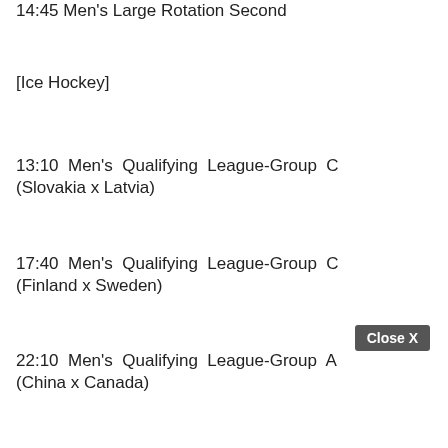14:45 Men's Large Rotation Second
[Ice Hockey]
13:10 Men's Qualifying League-Group C (Slovakia x Latvia)
17:40 Men's Qualifying League-Group C (Finland x Sweden)
22:10 Men's Qualifying League-Group A (China x Canada)